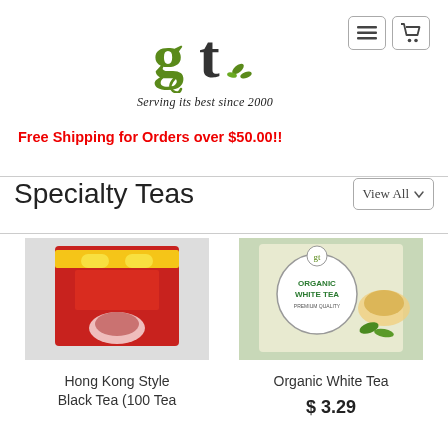[Figure (logo): GT logo with stylized green 'g' and dark 't' with leaf motif, tagline 'Serving its best since 2000']
Free Shipping for Orders over $50.00!!
Specialty Teas
[Figure (photo): Hong Kong Style Black Tea box (red packaging, 100 tea bags)]
[Figure (photo): Organic White Tea box with circular logo and cup image]
Hong Kong Style Black Tea (100 Tea
Organic White Tea
$ 3.29